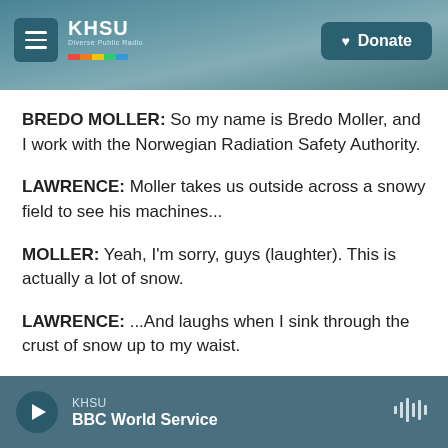[Figure (screenshot): KHSU public radio website header banner showing a coastal beach scene with mountains. Contains hamburger menu button on left, KHSU logo with rainbow stripe, and a Donate button on the right.]
BREDO MOLLER: So my name is Bredo Moller, and I work with the Norwegian Radiation Safety Authority.
LAWRENCE: Moller takes us outside across a snowy field to see his machines...
MOLLER: Yeah, I'm sorry, guys (laughter). This is actually a lot of snow.
LAWRENCE: ...And laughs when I sink through the crust of snow up to my waist.
KHSU BBC World Service